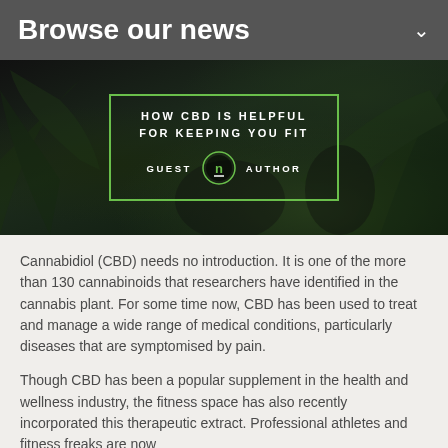Browse our news
[Figure (photo): Dark background photo of cannabis plant with bowl of seeds, overlaid with a green-bordered box containing text 'HOW CBD IS HELPFUL FOR KEEPING YOU FIT' and 'GUEST [n logo] AUTHOR']
Cannabidiol (CBD) needs no introduction. It is one of the more than 130 cannabinoids that researchers have identified in the cannabis plant. For some time now, CBD has been used to treat and manage a wide range of medical conditions, particularly diseases that are symptomised by pain.
Though CBD has been a popular supplement in the health and wellness industry, the fitness space has also recently incorporated this therapeutic extract. Professional athletes and fitness freaks are now